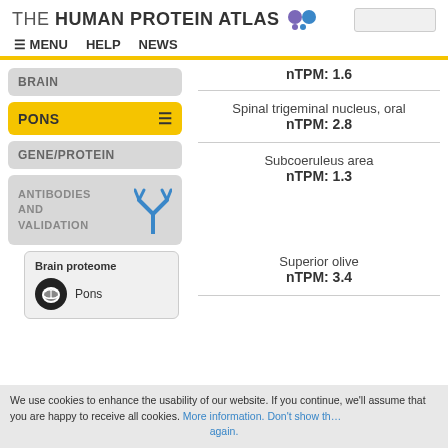THE HUMAN PROTEIN ATLAS
≡ MENU  HELP  NEWS
nTPM: 1.6
BRAIN
PONS
GENE/PROTEIN
ANTIBODIES AND VALIDATION
Brain proteome
Pons
Spinal trigeminal nucleus, oral
nTPM: 2.8
Subcoeruleus area
nTPM: 1.3
Superior olive
nTPM: 3.4
We use cookies to enhance the usability of our website. If you continue, we'll assume that you are happy to receive all cookies. More information. Don't show this again.